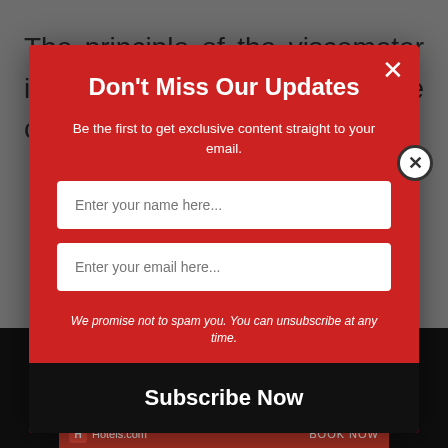The principle of the viscometer is to determine the falling time of a ball of
[Figure (screenshot): Email subscription modal popup overlay with red background. Title: Don't Miss Our Updates. Subtitle: Be the first to get exclusive content straight to your email. Two input fields: Enter your name here... and Enter your email here... A promise text: We promise not to spam you. You can unsubscribe at any time. Subscribe Now button at bottom. Close X button top right.]
[Figure (screenshot): Hotels.com advertisement banner at the bottom with dark background, showing a hotel image and Hotels.com logo with BOOK NOW text.]